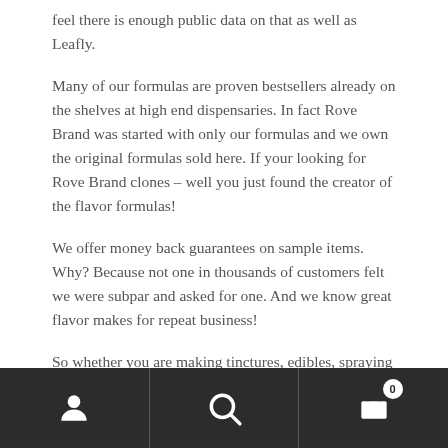feel there is enough public data on that as well as Leafly.
Many of our formulas are proven bestsellers already on the shelves at high end dispensaries. In fact Rove Brand was started with only our formulas and we own the original formulas sold here. If your looking for Rove Brand clones – well you just found the creator of the flavor formulas!
We offer money back guarantees on sample items. Why? Because not one in thousands of customers felt we were subpar and asked for one. And we know great flavor makes for repeat business!
So whether you are making tinctures, edibles, spraying it